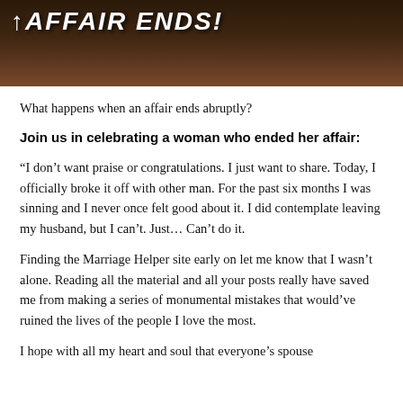[Figure (photo): Dark atmospheric background image with a banner text reading 'AFFAIR ENDS!' in bold italic white uppercase letters]
What happens when an affair ends abruptly?
Join us in celebrating a woman who ended her affair:
“I don’t want praise or congratulations. I just want to share. Today, I officially broke it off with other man. For the past six months I was sinning and I never once felt good about it. I did contemplate leaving my husband, but I can’t. Just… Can’t do it.
Finding the Marriage Helper site early on let me know that I wasn’t alone. Reading all the material and all your posts really have saved me from making a series of monumental mistakes that would’ve ruined the lives of the people I love the most.
I hope with all my heart and soul that everyone’s spouse